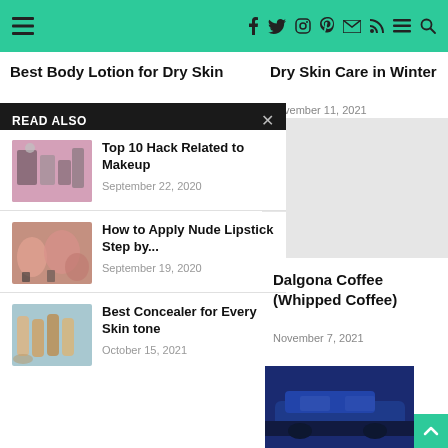Navigation bar with hamburger menu and social icons
Best Body Lotion for Dry Skin
Dry Skin Care in Winter
November 11, 2021
READ ALSO
Top 10 Hack Related to Makeup
September 22, 2020
How to Apply Nude Lipstick Step by...
September 19, 2020
Best Concealer for Every Skin tone
October 15, 2021
Dalgona Coffee (Whipped Coffee)
November 7, 2021